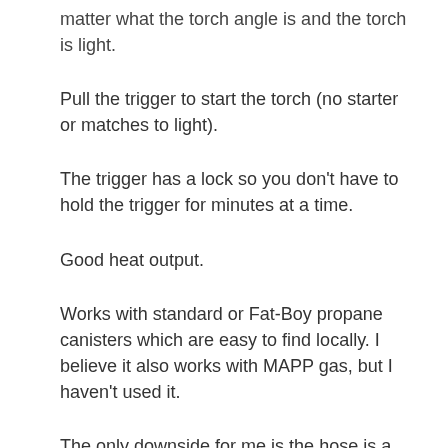matter what the torch angle is and the torch is light.
Pull the trigger to start the torch (no starter or matches to light).
The trigger has a lock so you don't have to hold the trigger for minutes at a time.
Good heat output.
Works with standard or Fat-Boy propane canisters which are easy to find locally. I believe it also works with MAPP gas, but I haven't used it.
The only downside for me is the hose is a little stiffer than I would like.
One suggestion: When using a torch, I've found that using a light-weight steel, low lip pan (like a solid